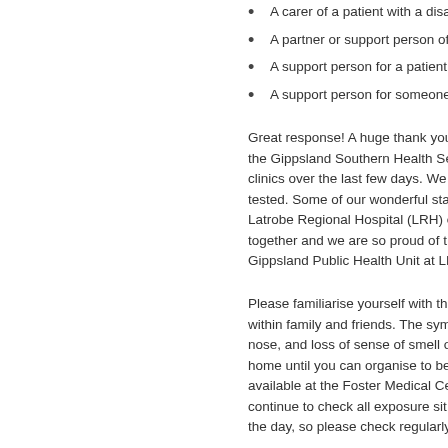A carer of a patient with a disab
A partner or support person of
A support person for a patient
A support person for someone
Great response! A huge thank you to the Gippsland Southern Health Ser clinics over the last few days. We a tested. Some of our wonderful sta Latrobe Regional Hospital (LRH) ov together and we are so proud of t Gippsland Public Health Unit at LRH
Please familiarise yourself with the within family and friends. The symp nose, and loss of sense of smell or home until you can organise to be available at the Foster Medical Cen continue to check all exposure sit the day, so please check regularly.